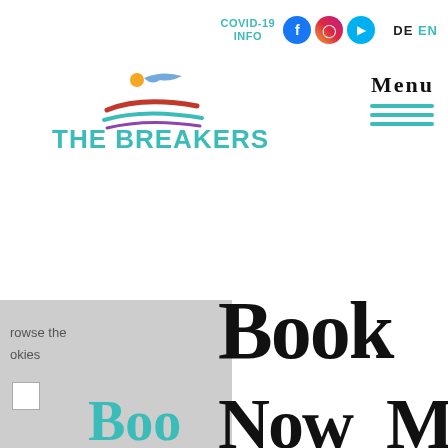[Figure (logo): COVID-19 INFO text with Facebook, Instagram, and video call social media icons, plus DE/EN language switcher]
[Figure (logo): The Breakers logo with colorful swoosh graphic above the text]
[Figure (other): Menu button with three horizontal teal lines and MENU text]
rowse the
okies
[Figure (other): Decorative handwritten/brush-script text reading BOOK NOW_MOBILE in large black letters]
Boo